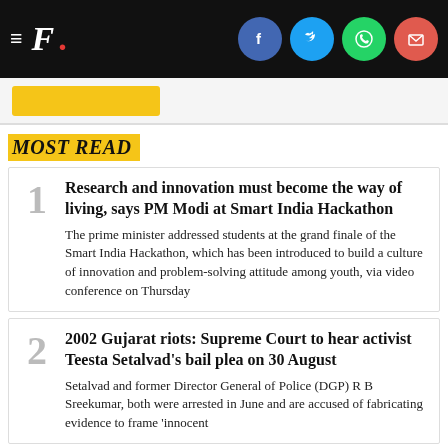F. [Firstpost logo with social share icons: Facebook, Twitter, WhatsApp, Email]
MOST READ
1 Research and innovation must become the way of living, says PM Modi at Smart India Hackathon — The prime minister addressed students at the grand finale of the Smart India Hackathon, which has been introduced to build a culture of innovation and problem-solving attitude among youth, via video conference on Thursday
2 2002 Gujarat riots: Supreme Court to hear activist Teesta Setalvad's bail plea on 30 August — Setalvad and former Director General of Police (DGP) R B Sreekumar, both were arrested in June and are accused of fabricating evidence to frame 'innocent people' in the courts. So the story continues